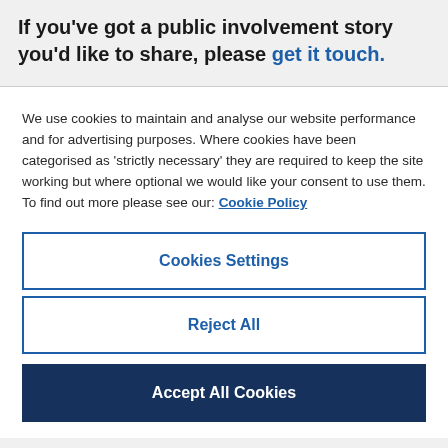If you've got a public involvement story you'd like to share, please get it touch.
We use cookies to maintain and analyse our website performance and for advertising purposes. Where cookies have been categorised as 'strictly necessary' they are required to keep the site working but where optional we would like your consent to use them. To find out more please see our: Cookie Policy
Cookies Settings
Reject All
Accept All Cookies